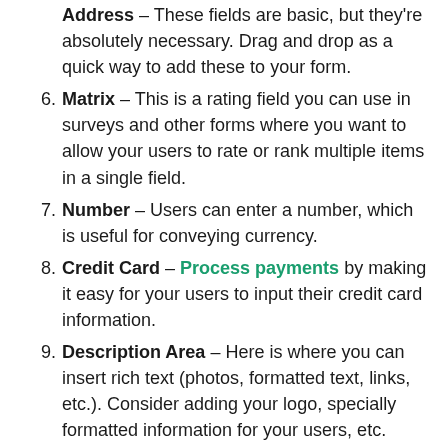Address – These fields are basic, but they're absolutely necessary. Drag and drop as a quick way to add these to your form.
6. Matrix – This is a rating field you can use in surveys and other forms where you want to allow your users to rate or rank multiple items in a single field.
7. Number – Users can enter a number, which is useful for conveying currency.
8. Credit Card – Process payments by making it easy for your users to input their credit card information.
9. Description Area – Here is where you can insert rich text (photos, formatted text, links, etc.). Consider adding your logo, specially formatted information for your users, etc.
10. Embed Code – Embed HTML with...